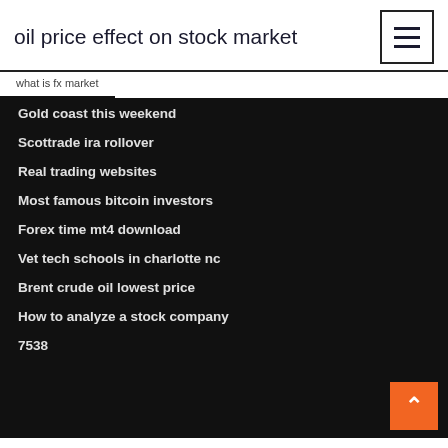oil price effect on stock market
what is fx market
Gold coast this weekend
Scottrade ira rollover
Real trading websites
Most famous bitcoin investors
Forex time mt4 download
Vet tech schools in charlotte nc
Brent crude oil lowest price
How to analyze a stock company
7538